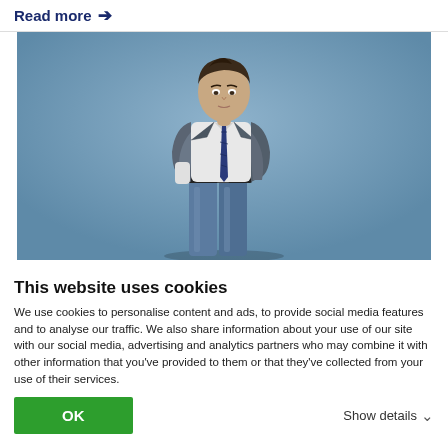Read more →
[Figure (photo): Young man standing in casual-smart outfit: white t-shirt, navy tie, grey blazer jacket, jeans. Blue-grey studio background. Full body shot.]
This website uses cookies
We use cookies to personalise content and ads, to provide social media features and to analyse our traffic. We also share information about your use of our site with our social media, advertising and analytics partners who may combine it with other information that you've provided to them or that they've collected from your use of their services.
OK
Show details